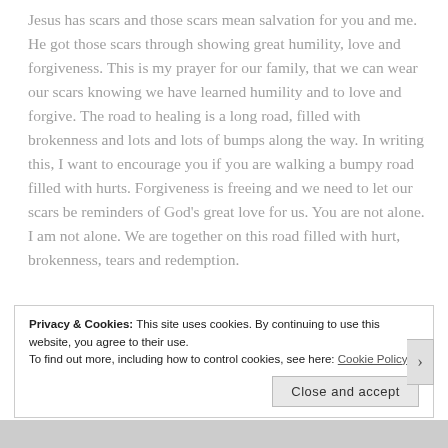Jesus has scars and those scars mean salvation for you and me. He got those scars through showing great humility, love and forgiveness. This is my prayer for our family, that we can wear our scars knowing we have learned humility and to love and forgive. The road to healing is a long road, filled with brokenness and lots and lots of bumps along the way. In writing this, I want to encourage you if you are walking a bumpy road filled with hurts. Forgiveness is freeing and we need to let our scars be reminders of God's great love for us. You are not alone. I am not alone. We are together on this road filled with hurt, brokenness, tears and redemption.
Privacy & Cookies: This site uses cookies. By continuing to use this website, you agree to their use. To find out more, including how to control cookies, see here: Cookie Policy